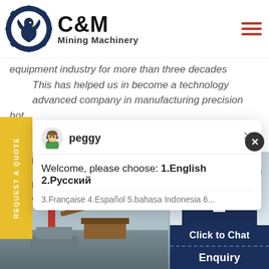[Figure (logo): C&M Mining Machinery logo with eagle/gear emblem in dark blue circle, and bold text 'C&M Mining Machinery']
equipment industry for more than three decades. This has helped us in become a technology advanced company in manufacturing precision hot
[Figure (screenshot): Live chat popup with avatar of 'peggy', message: 'Welcome, please choose: 1.English  2.Русский 3.Française  4.Español  5.bahasa Indonesia  6...']
[Figure (photo): Bottom section showing industrial mining machinery/crane on left, and a female customer service agent wearing a headset on right, with 'Click to Chat' and 'Enquiry' buttons]